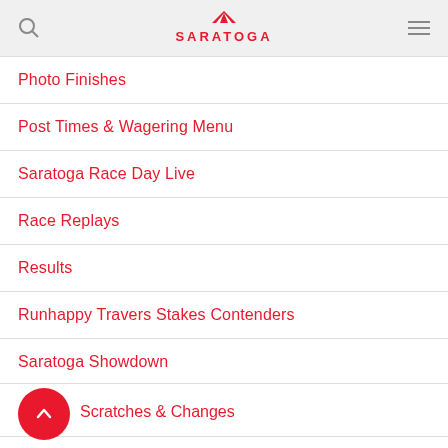SARATOGA
Photo Finishes
Post Times & Wagering Menu
Saratoga Race Day Live
Race Replays
Results
Runhappy Travers Stakes Contenders
Saratoga Showdown
Scratches & Changes
BACK TO TOP